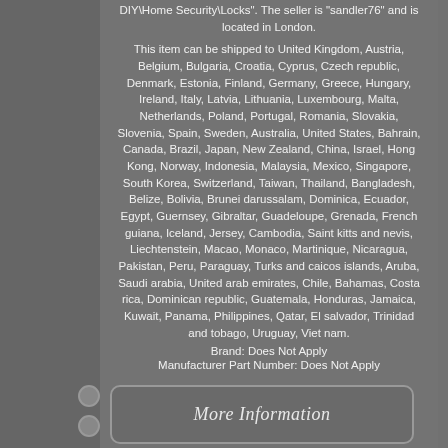DIY\Home Security\Locks". The seller is "sandler76" and is located in London.
This item can be shipped to United Kingdom, Austria, Belgium, Bulgaria, Croatia, Cyprus, Czech republic, Denmark, Estonia, Finland, Germany, Greece, Hungary, Ireland, Italy, Latvia, Lithuania, Luxembourg, Malta, Netherlands, Poland, Portugal, Romania, Slovakia, Slovenia, Spain, Sweden, Australia, United States, Bahrain, Canada, Brazil, Japan, New Zealand, China, Israel, Hong Kong, Norway, Indonesia, Malaysia, Mexico, Singapore, South Korea, Switzerland, Taiwan, Thailand, Bangladesh, Belize, Bolivia, Brunei darussalam, Dominica, Ecuador, Egypt, Guernsey, Gibraltar, Guadeloupe, Grenada, French guiana, Iceland, Jersey, Cambodia, Saint kitts and nevis, Liechtenstein, Macao, Monaco, Martinique, Nicaragua, Pakistan, Peru, Paraguay, Turks and caicos islands, Aruba, Saudi arabia, United arab emirates, Chile, Bahamas, Costa rica, Dominican republic, Guatemala, Honduras, Jamaica, Kuwait, Panama, Philippines, Qatar, El salvador, Trinidad and tobago, Uruguay, Viet nam.
Brand: Does Not Apply
Manufacturer Part Number: Does Not Apply
[Figure (other): More Information button/link graphic with italic text on a rounded rectangle]